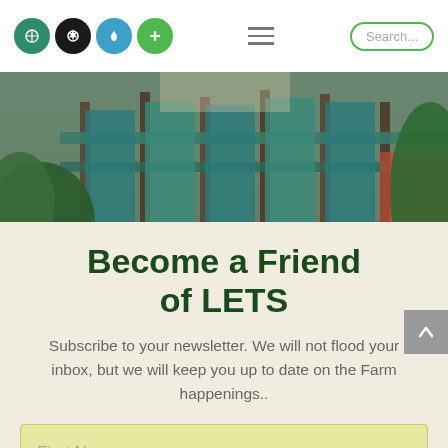LETS website navigation bar with logo icons, hamburger menu, and Search button
[Figure (photo): Outdoor garden/farm scene with wooden fence, raised garden beds, and lush green plants]
Become a Friend of LETS
Subscribe to your newsletter. We will not flood your inbox, but we will keep you up to date on the Farm happenings..
First Name
Last Name